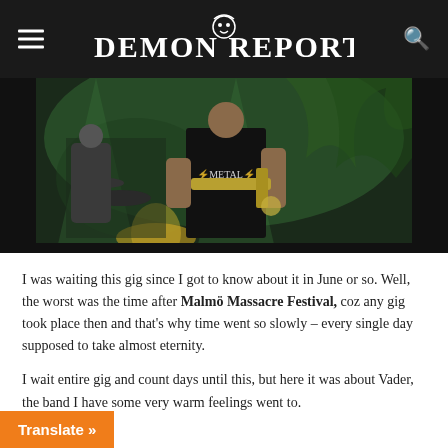DEMON REPORTS
[Figure (photo): Concert photo showing metal band members performing on stage with green lighting and fog effects. A musician wearing a black metal band shirt is prominently visible playing an instrument.]
I was waiting this gig since I got to know about it in June or so. Well, the worst was the time after Malmö Massacre Festival, coz any gig took place then and that's why time went so slowly – every single day supposed to take almost eternity.
I wait entire gig and count days until this, but here it was about Vader, the band I have some very warm feelings went to.